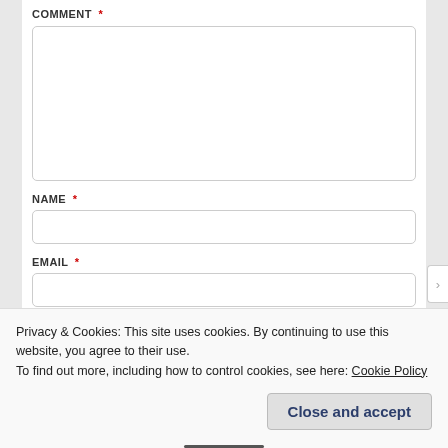COMMENT *
[Figure (screenshot): Empty comment textarea input field with rounded border]
NAME *
[Figure (screenshot): Empty name input field with rounded border]
EMAIL *
[Figure (screenshot): Empty email input field with rounded border]
WEBSITE
Privacy & Cookies: This site uses cookies. By continuing to use this website, you agree to their use.
To find out more, including how to control cookies, see here: Cookie Policy
Close and accept